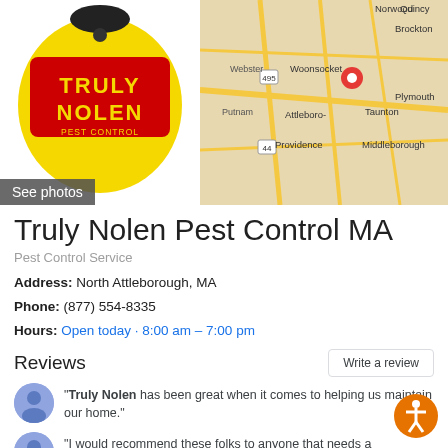[Figure (photo): Truly Nolen Pest Control logo on yellow background with a pesticide spray bottle shape, with text 'TRULY NOLEN PEST CONTROL TERMITES'. A 'See photos' button overlay is visible at the bottom left.]
[Figure (map): Google Maps snippet showing Attleboro/Providence area in Massachusetts/Rhode Island with cities labeled: Norwood, Quincy, Brockton, Webster, Woonsocket, Plymouth, Putnam, Attleboro-, Taunton, Providence, Middleborough. A red location pin is visible near Woonsocket/Attleboro.]
Truly Nolen Pest Control MA
Pest Control Service
Address: North Attleborough, MA
Phone: (877) 554-8335
Hours: Open today · 8:00 am – 7:00 pm
Reviews
"Truly Nolen has been great when it comes to helping us maintain our home."
"I would recommend these folks to anyone that needs a professional pest service."
"Very happy with the service provided."
View all Google reviews